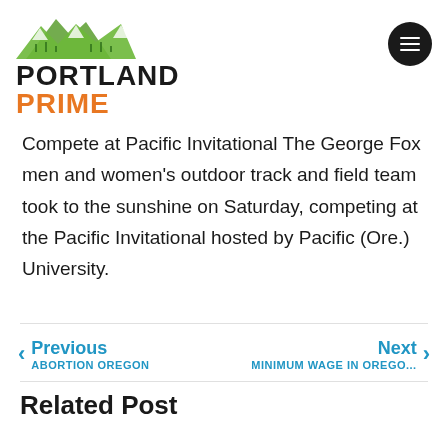[Figure (logo): Portland Prime logo with green mountain illustration above bold text PORTLAND in dark color and PRIME in orange]
Compete at Pacific Invitational The George Fox men and women's outdoor track and field team took to the sunshine on Saturday, competing at the Pacific Invitational hosted by Pacific (Ore.) University.
Previous ABORTION OREGON
Next MINIMUM WAGE IN OREGO...
Related Post